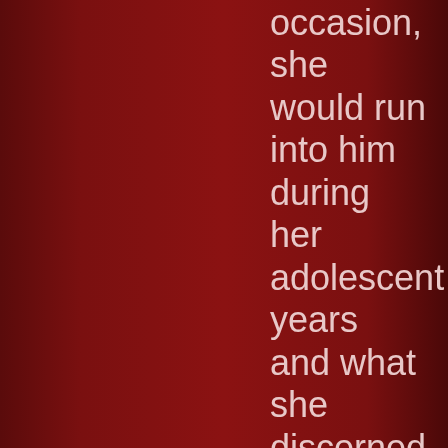occasion, she would run into him during her adolescent years and what she discerned sums the